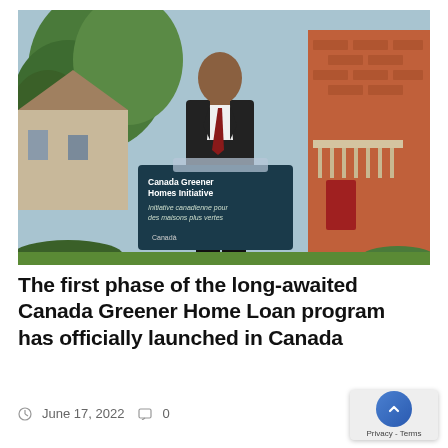[Figure (photo): A man in a dark suit with a red tie stands at a podium outdoors. The podium displays a sign reading 'Canada Greener Homes Initiative / Initiative canadienne pour des maisons plus vertes' with a Canada wordmark. Green trees and a brick building are visible in the background.]
The first phase of the long-awaited Canada Greener Home Loan program has officially launched in Canada
June 17, 2022  0